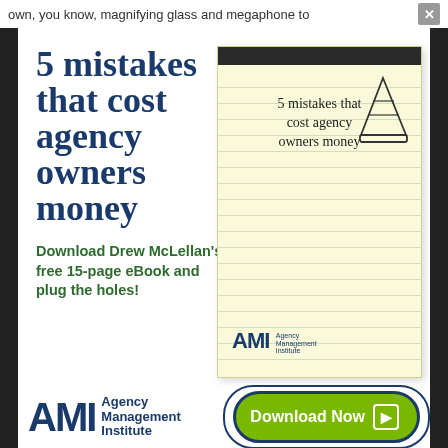own, you know, magnifying glass and megaphone to   ×
5 mistakes that cost agency owners money
Download Drew McLellan's free 15-page eBook and plug the holes!
[Figure (illustration): A yellow legal notepad with handwritten text reading '5 mistakes that cost agency owners money' and a drawing of a traffic cone, with AMI Agency Management Institute logo at the bottom]
[Figure (logo): AMI Agency Management Institute logo — large bold AMI letters with Agency Management Institute text beside them]
Download Now →